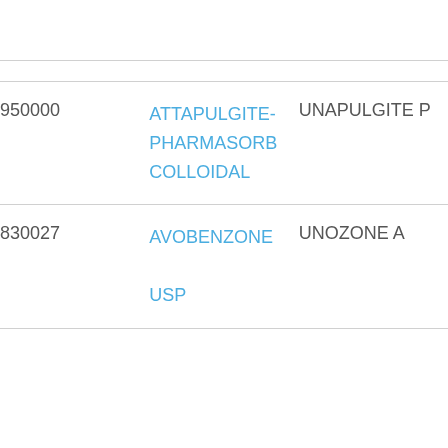| ID | Name | Brand |
| --- | --- | --- |
| 950000 | ATTAPULGITE-PHARMASORB COLLOIDAL | UNAPULGITE P |
| 830027 | AVOBENZONE USP | UNOZONE A |